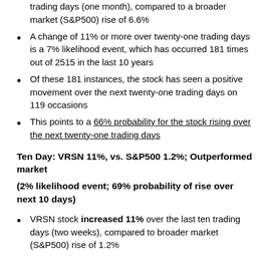VRSN stock increased 11% the last twenty-one trading days (one month), compared to a broader market (S&P500) rise of 6.6%
A change of 11% or more over twenty-one trading days is a 7% likelihood event, which has occurred 181 times out of 2515 in the last 10 years
Of these 181 instances, the stock has seen a positive movement over the next twenty-one trading days on 119 occasions
This points to a 66% probability for the stock rising over the next twenty-one trading days
Ten Day: VRSN 11%, vs. S&P500 1.2%; Outperformed market
(2% likelihood event; 69% probability of rise over next 10 days)
VRSN stock increased 11% over the last ten trading days (two weeks), compared to broader market (S&P500) rise of 1.2%